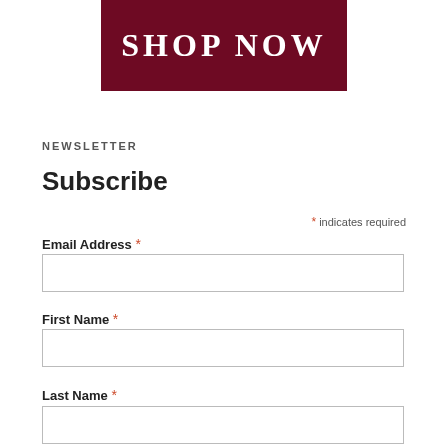[Figure (other): Dark red/maroon banner with white text reading SHOP NOW in serif uppercase letters]
NEWSLETTER
Subscribe
* indicates required
Email Address *
First Name *
Last Name *